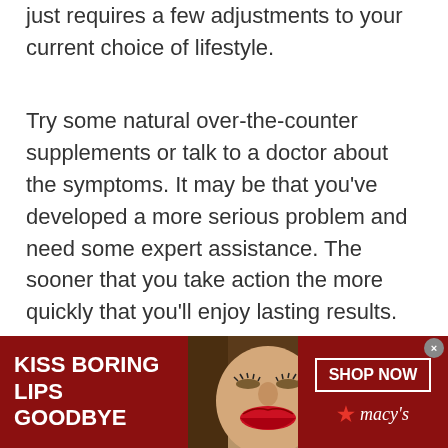just requires a few adjustments to your current choice of lifestyle.
Try some natural over-the-counter supplements or talk to a doctor about the symptoms. It may be that you’ve developed a more serious problem and need some expert assistance. The sooner that you take action the more quickly that you’ll enjoy lasting results.
Don’t delay!
AROUND THE WEB
[Figure (other): Advertisement banner for Macy's with text 'KISS BORING LIPS GOODBYE' on the left, a woman's face with red lipstick in the center, and 'SHOP NOW' button with Macy's star logo on the right, on a dark red background.]